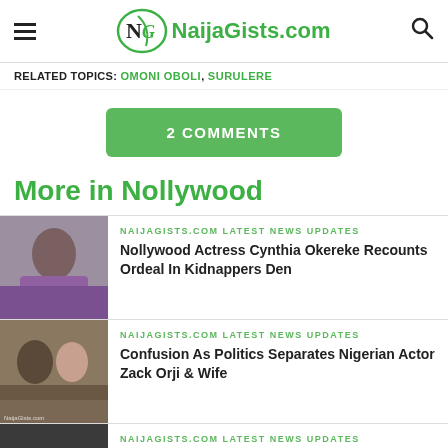NaijaGists.com
RELATED TOPICS: OMONI OBOLI, SURULERE
2 COMMENTS
More in Nollywood
[Figure (photo): Photo of Nollywood actress Cynthia Okereke]
NAIJAGISTS.COM LATEST NEWS UPDATES
Nollywood Actress Cynthia Okereke Recounts Ordeal In Kidnappers Den
[Figure (photo): Photo of Nigerian actor Zack Orji and wife]
NAIJAGISTS.COM LATEST NEWS UPDATES
Confusion As Politics Separates Nigerian Actor Zack Orji & Wife
[Figure (photo): Partial photo with overlay text: Can't Rescue Nollywood...ed In Enugu - AGN]
NAIJAGISTS.COM LATEST NEWS UPDATES